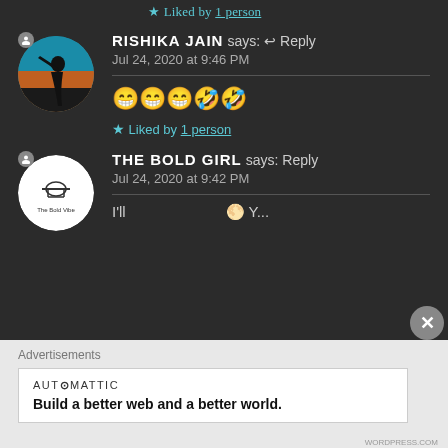★ Liked by 1 person
RISHIKA JAIN says: ↩ Reply
Jul 24, 2020 at 9:46 PM
😁😁😁🤣🤣
★ Liked by 1 person
THE BOLD GIRL says: Reply
Jul 24, 2020 at 9:42 PM
I'll...
Advertisements
AUTOMATTIC
Build a better web and a better world.